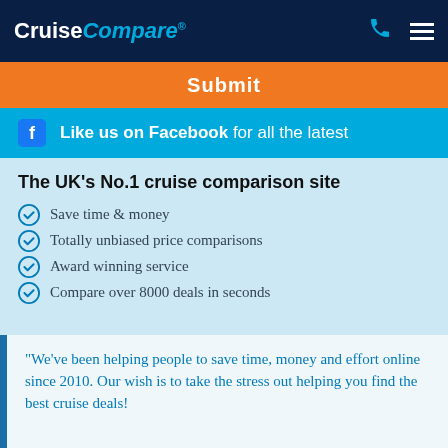CruiseCompare®
Submit
Like us on Facebook for all the latest
The UK's No.1 cruise comparison site
Save time & money
Totally unbiased price comparisons
Award winning service
Compare over 8000 deals in seconds
"We've been helping people to save time, money and effort online since 2010. Our wish is to take the stress out helping you find the best cruise deals!